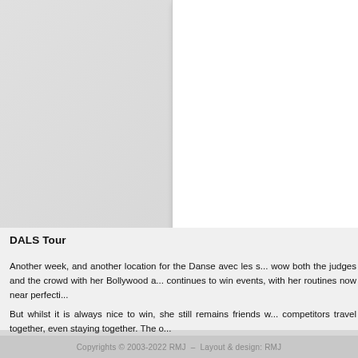[Figure (photo): White panel/card on right side of gray background, partial page image]
DALS Tour
Another week, and another location for the Danse avec les s... wow both the judges and the crowd with her Bollywood a... continues to win events, with her routines now near perfecti...
But whilst it is always nice to win, she still remains friends w... competitors travel together, even staying together. The o...
Copyrights © 2003-2022 RMJ  –  Layout & design: RMJ